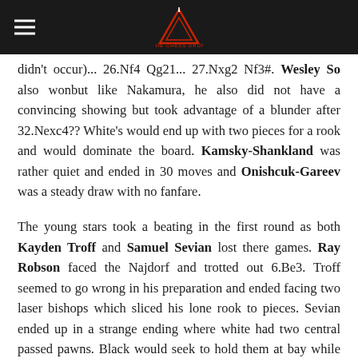THE CHESS DRUM [logo]
didn't occur)... 26.Nf4 Qg21... 27.Nxg2 Nf3#. Wesley So also wonbut like Nakamura, he also did not have a convincing showing but took advantage of a blunder after 32.Nexc4?? White's would end up with two pieces for a rook and would dominate the board. Kamsky-Shankland was rather quiet and ended in 30 moves and Onishcuk-Gareev was a steady draw with no fanfare.
The young stars took a beating in the first round as both Kayden Troff and Samuel Sevian lost there games. Ray Robson faced the Najdorf and trotted out 6.Be3. Troff seemed to go wrong in his preparation and ended facing two laser bishops which sliced his lone rook to pieces. Sevian ended up in a strange ending where white had two central passed pawns. Black would seek to hold them at bay while he pushed his own. Black actually promoted to a